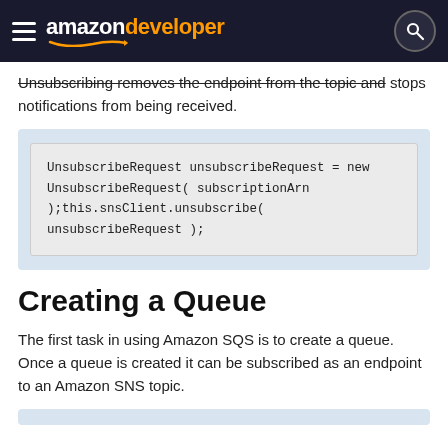amazon developer
Unsubscribing removes the endpoint from the topic and stops notifications from being received.
UnsubscribeRequest unsubscribeRequest = new UnsubscribeRequest( subscriptionArn );this.snsClient.unsubscribe( unsubscribeRequest );
Creating a Queue
The first task in using Amazon SQS is to create a queue. Once a queue is created it can be subscribed as an endpoint to an Amazon SNS topic.